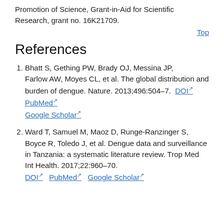Promotion of Science, Grant-in-Aid for Scientific Research, grant no. 16K21709.
Top
References
Bhatt S, Gething PW, Brady OJ, Messina JP, Farlow AW, Moyes CL, et al. The global distribution and burden of dengue. Nature. 2013;496:504–7. DOI PubMed Google Scholar
Ward T, Samuel M, Maoz D, Runge-Ranzinger S, Boyce R, Toledo J, et al. Dengue data and surveillance in Tanzania: a systematic literature review. Trop Med Int Health. 2017;22:960–70. DOI PubMed Google Scholar